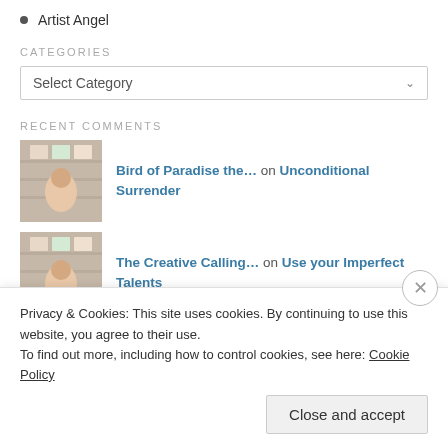Artist Angel
CATEGORIES
Select Category
RECENT COMMENTS
Bird of Paradise the… on Unconditional Surrender
The Creative Calling… on Use your Imperfect Talents
The Creative Calling… on Fresh Starts: Invitations to C…
Privacy & Cookies: This site uses cookies. By continuing to use this website, you agree to their use.
To find out more, including how to control cookies, see here: Cookie Policy
Close and accept